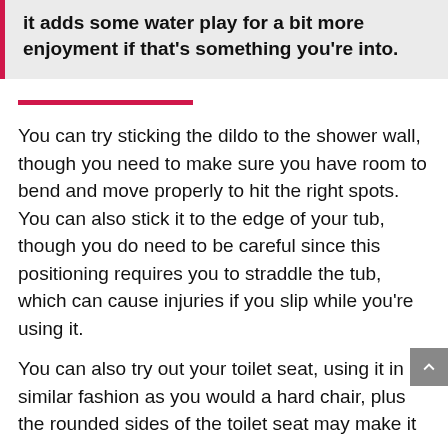it adds some water play for a bit more enjoyment if that's something you're into.
You can try sticking the dildo to the shower wall, though you need to make sure you have room to bend and move properly to hit the right spots. You can also stick it to the edge of your tub, though you do need to be careful since this positioning requires you to straddle the tub, which can cause injuries if you slip while you're using it.
You can also try out your toilet seat, using it in a similar fashion as you would a hard chair, plus the rounded sides of the toilet seat may make it a